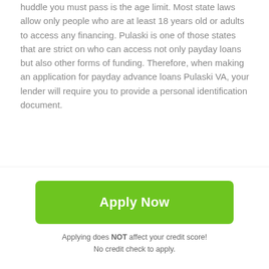huddle you must pass is the age limit. Most state laws allow only people who are at least 18 years old or adults to access any financing. Pulaski is one of those states that are strict on who can access not only payday loans but also other forms of funding. Therefore, when making an application for payday advance loans Pulaski VA, your lender will require you to provide a personal identification document.
A steady source of income
Because payday loans are pegged on the next payday salary or paycheck, you must have a steady income source. You must either have a salary or business where direct
[Figure (other): Green 'Apply Now' call-to-action button]
Applying does NOT affect your credit score!
No credit check to apply.